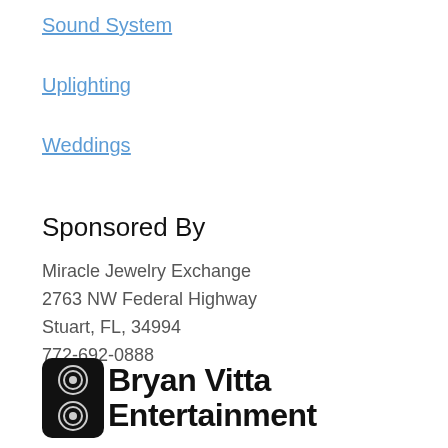Sound System
Uplighting
Weddings
Sponsored By
Miracle Jewelry Exchange
2763 NW Federal Highway
Stuart, FL, 34994
772-692-0888
[Figure (logo): Bryan Vitta Entertainment logo with speaker icon]